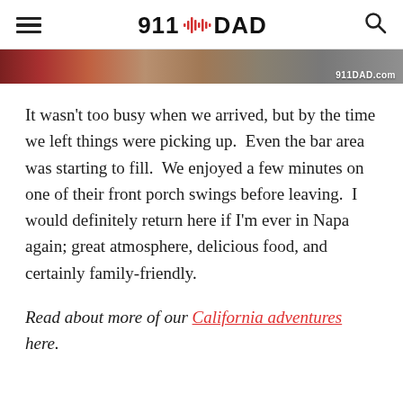911 DAD
[Figure (photo): Partial image strip showing interior of a restaurant or bar, with 911DAD.com watermark in lower right]
It wasn't too busy when we arrived, but by the time we left things were picking up.  Even the bar area was starting to fill.  We enjoyed a few minutes on one of their front porch swings before leaving.  I would definitely return here if I'm ever in Napa again; great atmosphere, delicious food, and certainly family-friendly.
Read about more of our California adventures here.